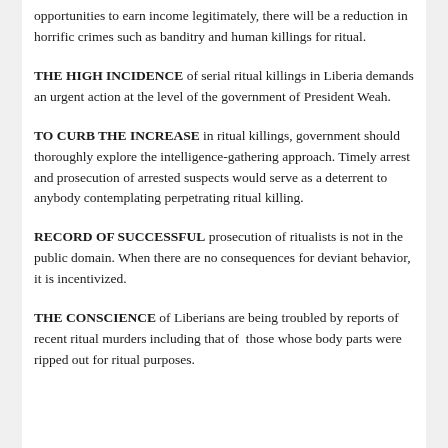opportunities to earn income legitimately, there will be a reduction in horrific crimes such as banditry and human killings for ritual.
THE HIGH INCIDENCE of serial ritual killings in Liberia demands an urgent action at the level of the government of President Weah.
TO CURB THE INCREASE in ritual killings, government should thoroughly explore the intelligence-gathering approach. Timely arrest and prosecution of arrested suspects would serve as a deterrent to anybody contemplating perpetrating ritual killing.
RECORD OF SUCCESSFUL prosecution of ritualists is not in the public domain. When there are no consequences for deviant behavior, it is incentivized.
THE CONSCIENCE of Liberians are being troubled by reports of recent ritual murders including that of those whose body parts were ripped out for ritual purposes.